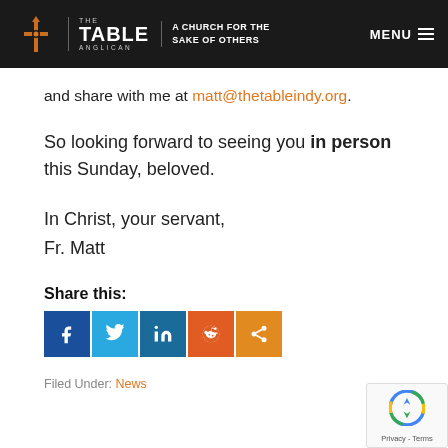THE TABLE ANGLICAN | A CHURCH FOR THE SAKE OF OTHERS | MENU
and share with me at matt@thetableindy.org.
So looking forward to seeing you in person this Sunday, beloved.
In Christ, your servant,
Fr. Matt
Share this:
[Figure (other): Social share buttons: Facebook, Twitter, LinkedIn, Reddit, Share]
Filed Under: News
[Figure (other): reCAPTCHA Privacy - Terms badge]